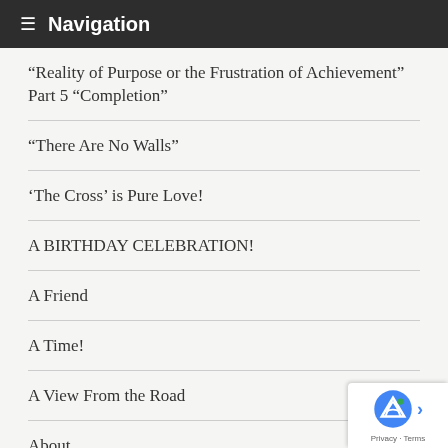Navigation
“Reality of Purpose or the Frustration of Achievement” Part 5 “Completion”
“There Are No Walls”
‘The Cross’ is Pure Love!
A BIRTHDAY CELEBRATION!
A Friend
A Time!
A View From the Road
About